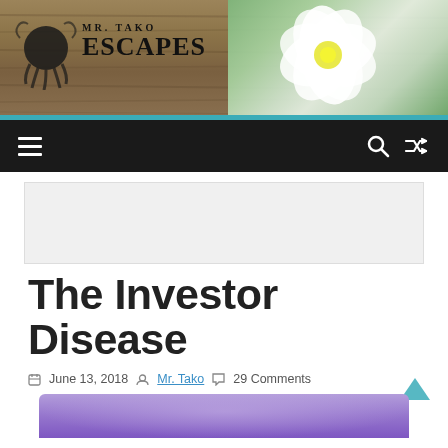[Figure (photo): Mr. Tako Escapes blog header banner with wood texture background and white flower photo on right, with octopus logo and site name on left]
[Figure (screenshot): Navigation bar with hamburger menu icon on left, search and shuffle icons on right, dark background]
[Figure (other): Advertisement placeholder area, light gray background]
The Investor Disease
June 13, 2018  Mr. Tako  29 Comments